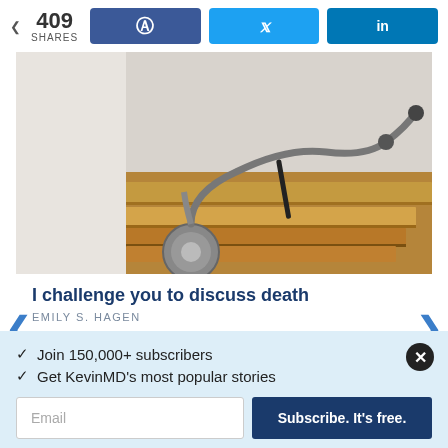409 SHARES  [Facebook] [Twitter] [LinkedIn]
[Figure (photo): Stethoscope resting on a stack of books, medical/educational themed photo]
I challenge you to discuss death
EMILY S. HAGEN
✓  Join 150,000+ subscribers
✓  Get KevinMD's most popular stories
Email  Subscribe. It's free.